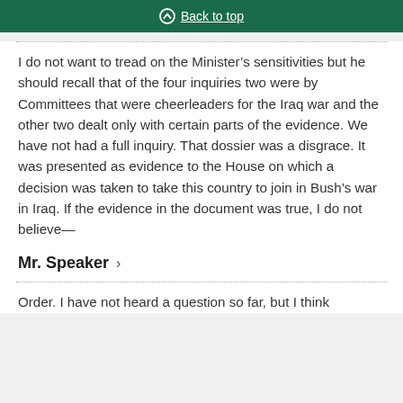Back to top
I do not want to tread on the Minister’s sensitivities but he should recall that of the four inquiries two were by Committees that were cheerleaders for the Iraq war and the other two dealt only with certain parts of the evidence. We have not had a full inquiry. That dossier was a disgrace. It was presented as evidence to the House on which a decision was taken to take this country to join in Bush’s war in Iraq. If the evidence in the document was true, I do not believe—
Mr. Speaker ›
Order. I have not heard a question so far, but I think